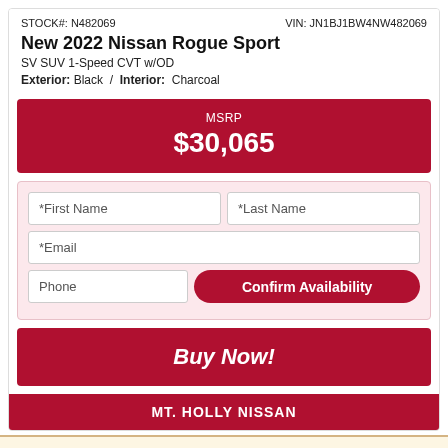STOCK#: N482069   VIN: JN1BJ1BW4NW482069
New 2022 Nissan Rogue Sport
SV SUV 1-Speed CVT w/OD
Exterior: Black / Interior: Charcoal
MSRP $30,065
*First Name  *Last Name  *Email  Phone
Confirm Availability
Buy Now!
MT. HOLLY NISSAN
Your web browser (iOS 11) is out of date. Update your browser for more security, speed and the best experience on this site.
Update browser   Ignore